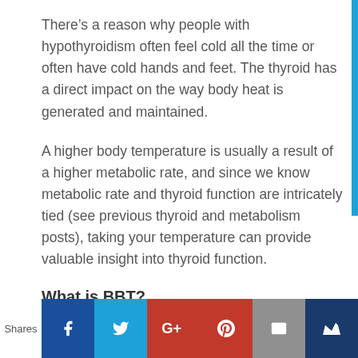There’s a reason why people with hypothyroidism often feel cold all the time or often have cold hands and feet. The thyroid has a direct impact on the way body heat is generated and maintained.
A higher body temperature is usually a result of a higher metabolic rate, and since we know metabolic rate and thyroid function are intricately tied (see previous thyroid and metabolism posts), taking your temperature can provide valuable insight into thyroid function.
What is BBT?
[Figure (infographic): Social share bar at the bottom with Facebook, Twitter, Google+, Pinterest, Email, and Crown/bookmark icons. A 'Shares' label appears on the left white section.]